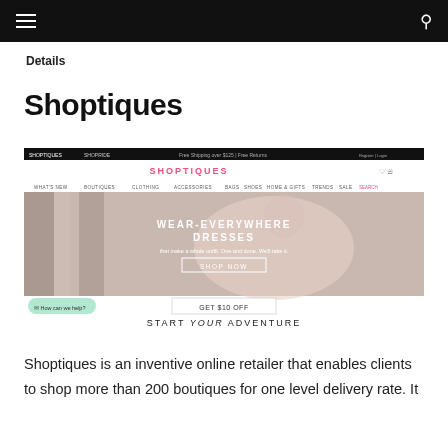Details
Shoptiques
[Figure (screenshot): Screenshot of the Shoptiques website showing the homepage with navigation bar, hero image of a woman in a pink dress with text 'WEAR-EVERYWHERE DRESSES', a 'SHOP NOW' button, 'GET $10 OFF' banner, and 'START YOUR ADVENTURE' text.]
Shoptiques is an inventive online retailer that enables clients to shop more than 200 boutiques for one level delivery rate. It